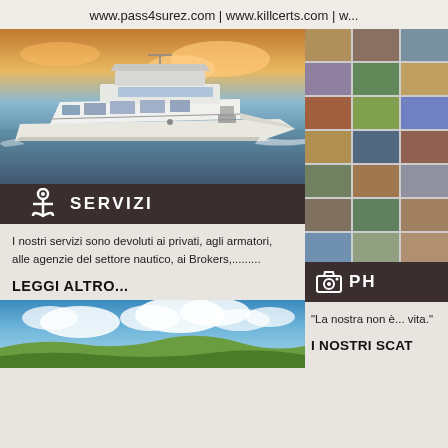www.pass4surez.com | www.killcerts.com | w...
[Figure (photo): Luxury white motor yacht on open water at sunset with orange clouds]
⚓ SERVIZI
[Figure (photo): Grid of small thumbnail photos of interior/exterior real estate or boat scenes]
📷 PH...
I nostri servizi sono devoluti ai privati, agli armatori, alle agenzie del settore nautico, ai Brokers,.........
"La nostra non è... vita."
LEGGI ALTRO...
I NOSTRI SCAT...
[Figure (photo): Blue sky with white clouds over green hills and landscape]